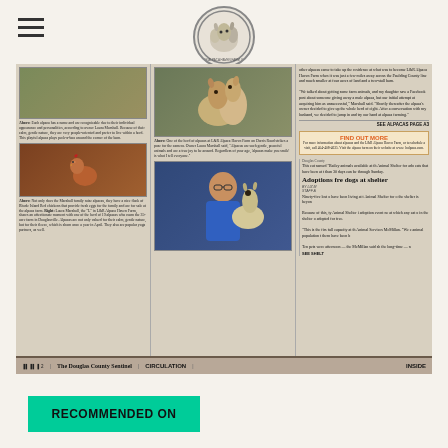[Figure (logo): L&R Alpaca Haven Farm LLC circular logo with alpaca illustrations]
[Figure (photo): Newspaper clipping showing alpaca farm story from The Douglas County Sentinel, featuring photos of alpacas, chickens, and farm owner Laura Marshall, with text about L&R Alpaca Haven Farm and a 'Find Out More' box with contact info. Also shows partial adjacent column about animal shelter adoptions.]
The Douglas County Sentinel | CIRCULATION | INSIDE
RECOMMENDED ON